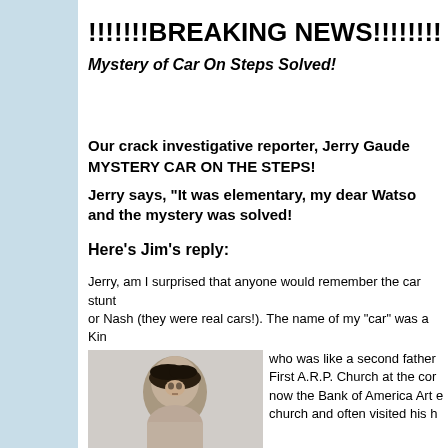!!!!!!!BREAKING NEWS!!!!!!!!
Mystery of Car On Steps Solved!
Our crack investigative reporter, Jerry Gaude solved the MYSTERY CAR ON THE STEPS!
Jerry says, "It was elementary, my dear Watson," and the mystery was solved!
Here's Jim's reply:
Jerry, am I surprised that anyone would remember the car stunt or Nash (they were real cars!). The name of my "car" was a Kin who was like a second father First A.R.P. Church at the cor now the Bank of America Art e church and often visited his h